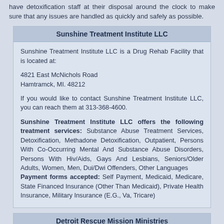have detoxification staff at their disposal around the clock to make sure that any issues are handled as quickly and safely as possible.
Sunshine Treatment Institute LLC
Sunshine Treatment Institute LLC is a Drug Rehab Facility that is located at:

4821 East McNichols Road
Hamtramck, MI. 48212

If you would like to contact Sunshine Treatment Institute LLC, you can reach them at 313-368-4600.

Sunshine Treatment Institute LLC offers the following treatment services: Substance Abuse Treatment Services, Detoxification, Methadone Detoxification, Outpatient, Persons With Co-Occurring Mental And Substance Abuse Disorders, Persons With Hiv/Aids, Gays And Lesbians, Seniors/Older Adults, Women, Men, Dui/Dwi Offenders, Other Languages Payment forms accepted: Self Payment, Medicaid, Medicare, State Financed Insurance (Other Than Medicaid), Private Health Insurance, Military Insurance (E.G., Va, Tricare)
Detroit Rescue Mission Ministries